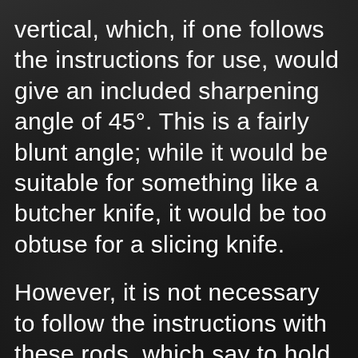vertical, which, if one follows the instructions for use, would give an included sharpening angle of 45°. This is a fairly blunt angle; while it would be suitable for something like a butcher knife, it would be too obtuse for a slicing knife.
However, it is not necessary to follow the instructions with these rods, which say to hold the knife vertically